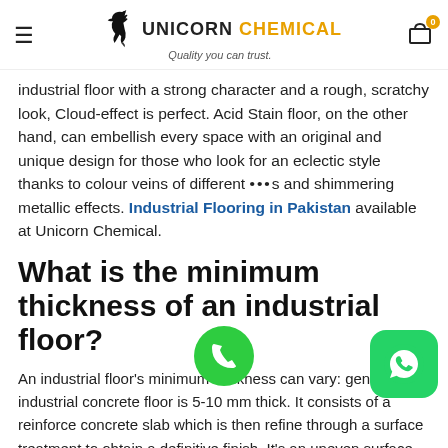Unicorn Chemical — Quality you can trust.
industrial floor with a strong character and a rough, scratchy look, Cloud-effect is perfect. Acid Stain floor, on the other hand, can embellish every space with an original and unique design for those who look for an eclectic style thanks to colour veins of different ...s and shimmering metallic effects. Industrial Flooring in Pakistan available at Unicorn Chemical.
What is the minimum thickness of an industrial floor?
An industrial floor's minimum thickness can vary: generally, an industrial concrete floor is 5-10 mm thick. It consists of a reinforce concrete slab which is then refine through a surface treatment to obtain a definitive finish. It's an uneven surface, so it requires the use of dilatation joints.
In the case of Unicorn Chemicals industrial floors, the designer has